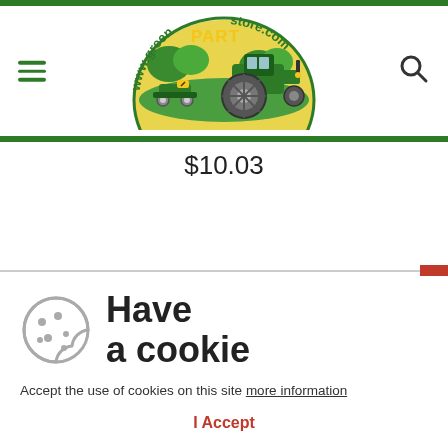[Figure (logo): www.greenPARTstore.com logo with tractor and lawn mower illustration on yellow-green background]
$10.03
[Figure (infographic): Cookie consent dialog with cookie icon, 'Have a cookie' heading, and 'I Accept' button]
Have
a cookie
Accept the use of cookies on this site more information
I Accept